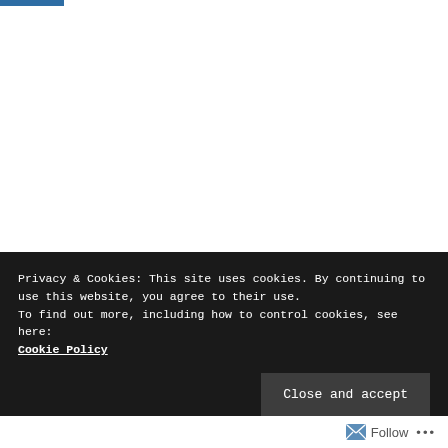Privacy & Cookies: This site uses cookies. By continuing to use this website, you agree to their use.
To find out more, including how to control cookies, see here:
Cookie Policy
Close and accept
Follow